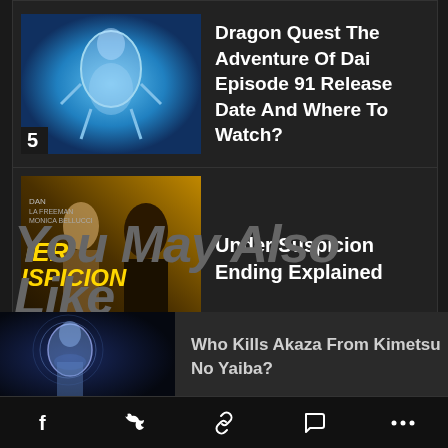[Figure (photo): Thumbnail for Dragon Quest anime episode, blue glowing character]
5
Dragon Quest The Adventure Of Dai Episode 91 Release Date And Where To Watch?
[Figure (photo): Movie poster for Under Suspicion with two people and yellow text]
6
Under Suspicion Ending Explained
You May Also Like
[Figure (photo): Thumbnail for Kimetsu No Yaiba article showing Akaza character]
Who Kills Akaza From Kimetsu No Yaiba?